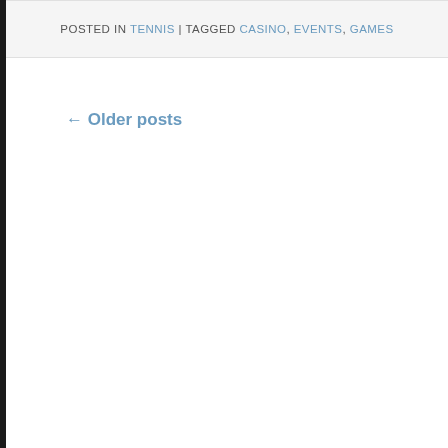POSTED IN TENNIS | TAGGED CASINO, EVENTS, GAMES
← Older posts